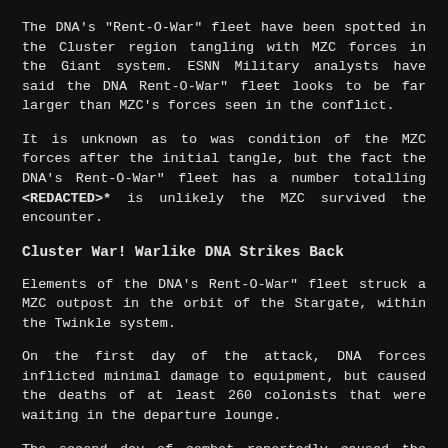The DNA's "Rent-O-War" fleet have been spotted in the Cluster region tangling with MZC forces in the Giant system. ESNN Military analysts have said the DNA Rent-O-War" fleet looks to be far larger than MZC's forces seen in the conflict.
It is unknown as to was condition of the MZC forces after the initial tangle, but the fact the DNA's Rent-O-War" fleet has a number totalling <REDACTED>* is unlikely the MZC survived the encounter.
Cluster War! Warlike DNA Strikes Back
Elements of the DNA's Rent-O-War" fleet struck a MZC outpost in the orbit of the Stargate, within the Twinkle system.
On the first day of the attack, DNA forces inflicted minimal damage to equipment, but caused the deaths of at least 260 colonists that were waiting in the departure lounge.
The second day of combat reportedly caused the total loss of the facility, along with the lives of thousands of colonists* that were aboard.